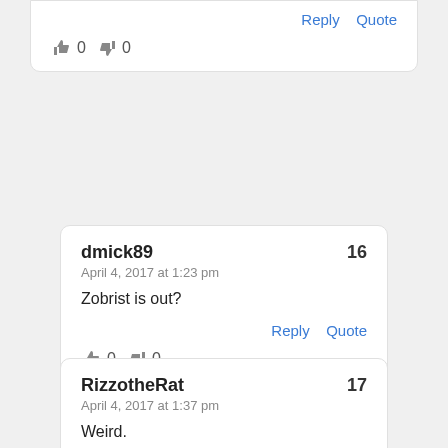Reply  Quote
👍 0  👎 0
dmick89
April 4, 2017 at 1:23 pm
Zobrist is out?
Reply  Quote
👍 0  👎 0
RizzotheRat
April 4, 2017 at 1:37 pm
Weird.
Reply  Quote